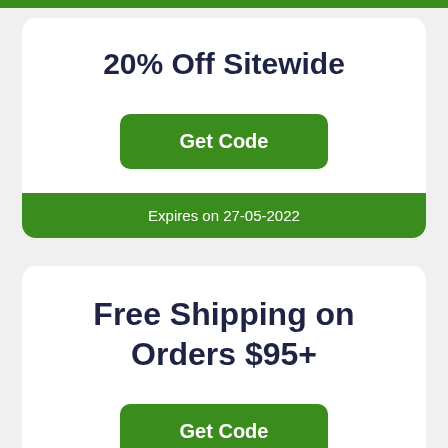20% Off Sitewide
Get Code
Expires on 27-05-2022
Free Shipping on Orders $95+
Get Code